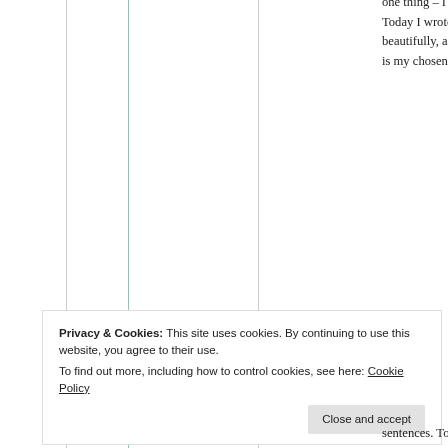one thing – I promised to read your post every time you publish it. Today I wrote a comment because you wrote about India so beautifully, and every time you write about India, I will comment, as it is my chosen country. As you know, I write one post a week it is with
Privacy & Cookies: This site uses cookies. By continuing to use this website, you agree to their use. To find out more, including how to control cookies, see here: Cookie Policy
sentences. To make you